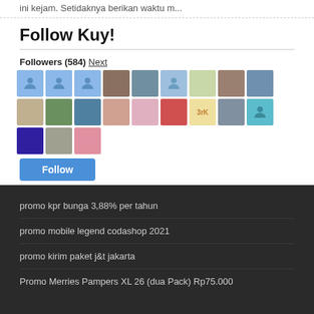ini kejam. Setidaknya berikan waktu m...
Follow Kuy!
Followers (584) Next
[Figure (photo): Grid of 21 follower avatar thumbnails]
Follow
promo kpr bunga 3,88% per tahun
promo mobile legend codashop 2021
promo kirim paket j&amp;t jakarta
Promo Merries Pampers XL 26 (dua Pack) Rp75.000